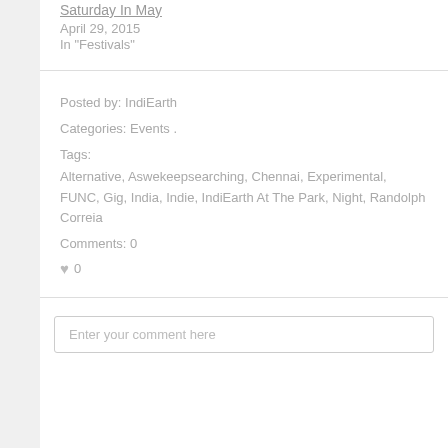Saturday In May
April 29, 2015
In "Festivals"
Posted by: IndiEarth
Categories: Events
Tags:
Alternative, Aswekeepsearching, Chennai, Experimental, FUNC, Gig, India, Indie, IndiEarth At The Park, Night, Randolph Correia
Comments: 0
0
Enter your comment here